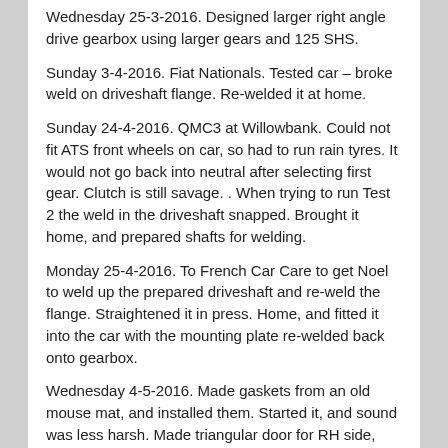Wednesday 25-3-2016.  Designed larger right angle drive gearbox using larger gears and 125 SHS.
Sunday 3-4-2016.  Fiat Nationals.  Tested car – broke weld on driveshaft flange.  Re-welded it at home.
Sunday 24-4-2016.  QMC3 at Willowbank.  Could not fit ATS front wheels on car, so had to run rain tyres.  It would not go back into neutral after selecting first gear.  Clutch is still savage.  .  When trying to run Test 2 the weld in the driveshaft snapped.  Brought it home, and prepared shafts for welding.
Monday 25-4-2016.  To French Car Care to get Noel to weld up the prepared driveshaft and re-weld the flange.  Straightened it in press.  Home, and fitted it into the car with the mounting plate re-welded back onto gearbox.
Wednesday 4-5-2016.  Made gaskets from an old mouse mat, and installed them.  Started it, and sound was less harsh.  Made triangular door for RH side, painted it and fitted it.  Made number panels and “G” lettering from